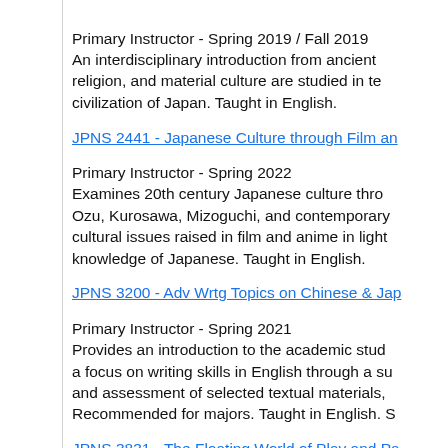Primary Instructor - Spring 2019 / Fall 2019
An interdisciplinary introduction from ancient [text continues] religion, and material culture are studied in te[xt continues] civilization of Japan. Taught in English.
JPNS 2441 - Japanese Culture through Film an[d Anime]
Primary Instructor - Spring 2022
Examines 20th century Japanese culture thro[ugh the works of] Ozu, Kurosawa, Mizoguchi, and contemporary [directors, exploring] cultural issues raised in film and anime in light [of broader context.] knowledge of Japanese. Taught in English.
JPNS 3200 - Adv Wrtg Topics on Chinese & Jap[anese]
Primary Instructor - Spring 2021
Provides an introduction to the academic stu[dy of...] a focus on writing skills in English through a su[rvey] and assessment of selected textual materials, [etc.] Recommended for majors. Taught in English. S[...]
JPNS 3831 - The Floating World of Play and Pa[stime]
Primary Instructor - Fall 2018 / Spring 2020 / S[pring...]
Surveys the major works, authors, and genres [of...] in their historical and cultural contexts. Atte[ntion...]